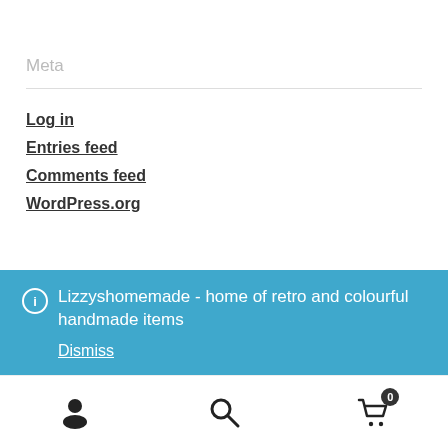Meta
Log in
Entries feed
Comments feed
WordPress.org
Lizzyshomemade - home of retro and colourful handmade items
Dismiss
[Figure (infographic): Bottom navigation bar with person icon, search icon, and shopping cart icon with badge showing 0]